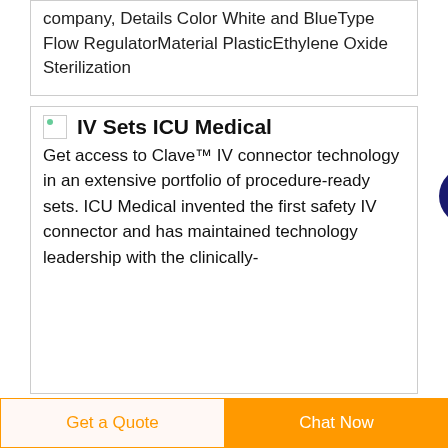company, Details Color White and BlueType Flow RegulatorMaterial PlasticEthylene Oxide Sterilization
IV Sets ICU Medical
Get access to Clave™ IV connector technology in an extensive portfolio of procedure-ready sets. ICU Medical invented the first safety IV connector and has maintained technology leadership with the clinically-
Get a Quote
Chat Now